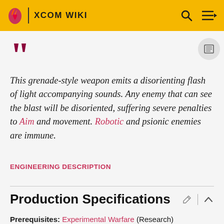XCOM WIKI
This grenade-style weapon emits a disorienting flash of light accompanying sounds. Any enemy that can see the blast will be disoriented, suffering severe penalties to Aim and movement. Robotic and psionic enemies are immune.
ENGINEERING DESCRIPTION
Production Specifications
Prerequisites: Experimental Warfare (Research)